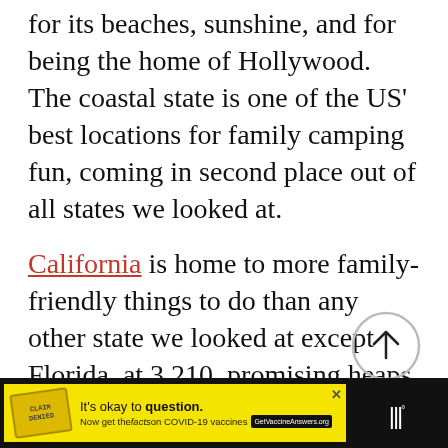for its beaches, sunshine, and for being the home of Hollywood. The coastal state is one of the US' best locations for family camping fun, coming in second place out of all states we looked at.
California is home to more family-friendly things to do than any other state we looked at except Florida, at 3,210, promising heaps of family fun.
[Figure (other): Scroll-to-top circular button with upward arrow icon]
[Figure (other): Advertisement banner: yellow background with stamp graphic. Text reads 'It's okay to question. Now get the facts on COVID-19 vaccines GetVaccineAnswers.org'. Weather widget logo on right.]